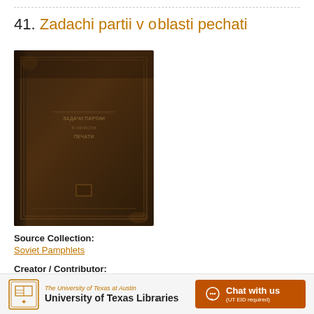41. Zadachi partii v oblasti pechati
[Figure (photo): Photograph of an old brown book cover with Russian text, worn edges and dark binding]
Source Collection:
Soviet Pamphlets
Creator / Contributor:
Vareĭkis, I. (Author)
The University of Texas at Austin University of Texas Libraries  Chat with us (UT EID required)